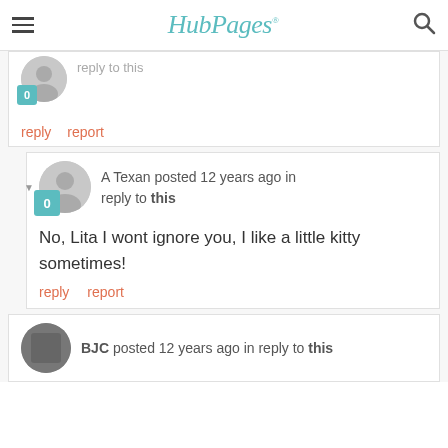HubPages
reply to this
reply   report
A Texan posted 12 years ago in reply to this
No, Lita I wont ignore you, I like a little kitty sometimes!
reply   report
BJC posted 12 years ago in reply to this